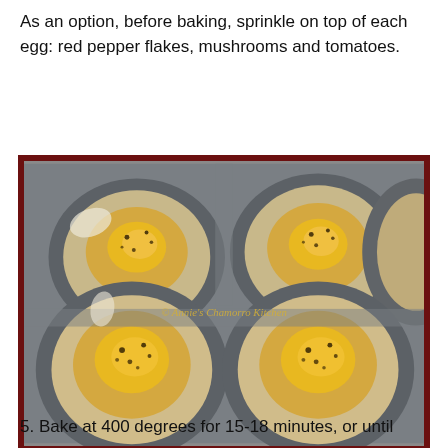As an option, before baking, sprinkle on top of each egg: red pepper flakes, mushrooms and tomatoes.
[Figure (photo): A muffin tin with four cups showing biscuit dough cups filled with raw eggs and seasoning, taken before baking. Watermark reads © Annie's Chamorro Kitchen.]
5. Bake at 400 degrees for 15-18 minutes, or until